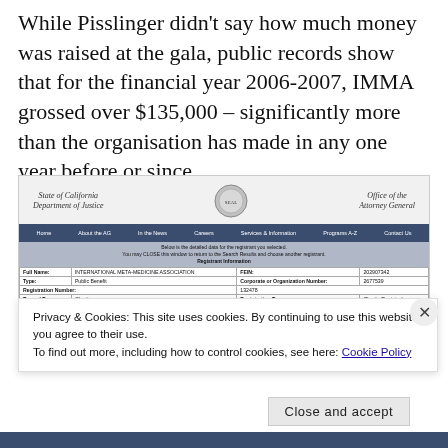While Pisslinger didn't say how much money was raised at the gala, public records show that for the financial year 2006-2007, IMMA grossed over $135,000 – significantly more than the organisation has made in any one year before or since.
[Figure (screenshot): Screenshot of State of California Department of Justice, Office of the Attorney General website showing registrant information for International Meta-Medicine Association. FEIN: 202907342, Corporate or Organization Number: 2677539, Registration Number: 132478, Record Type: Charity, Registration Type: Charity Registration, Issue Date: 31/03/2006, Renewal Due Date: 15/08/2017.]
Privacy & Cookies: This site uses cookies. By continuing to use this website, you agree to their use. To find out more, including how to control cookies, see here: Cookie Policy